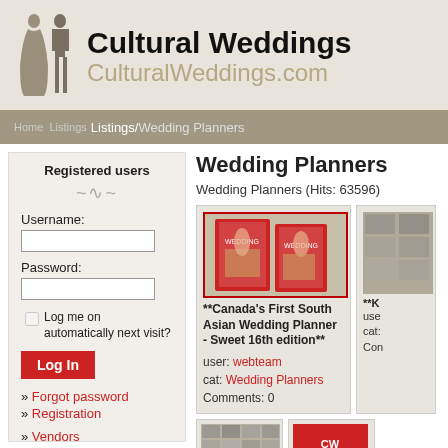[Figure (logo): Cultural Weddings site header with wedding couple silhouette logo, site title 'Cultural Weddings' and domain 'CulturalWeddings.com']
Listings/Wedding Planners
Registered users
Username:
Password:
Log me on automatically next visit?
Log In
» Forgot password
» Registration
» Vendors
» About Us
» Contact Us
Wedding Planners
Wedding Planners (Hits: 63596)
[Figure (photo): Book cover photo for Canada's First South Asian Wedding Planner - Sweet 16th edition]
**Canada's First South Asian Wedding Planner - Sweet 16th edition**
user: webteam
cat: Wedding Planners
Comments: 0
[Figure (photo): Partial listing card image on the right side, cropped]